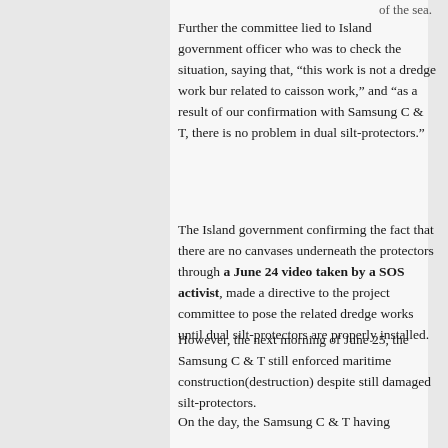of the sea.
Further the committee lied to Island government officer who was to check the situation, saying that, “this work is not a dredge work bur related to caisson work,” and “as a result of our confirmation with Samsung C & T, there is no problem in dual silt-protectors.”
The Island government confirming the fact that there are no canvases underneath the protectors through a June 24 video taken by a SOS activist, made a directive to the project committee to pose the related dredge works until dual silt-protectors are properly installed.
However, the next morning of June 25, the Samsung C & T still enforced maritime construction(destruction) despite still damaged silt-protectors.
On the day, the Samsung C & T having